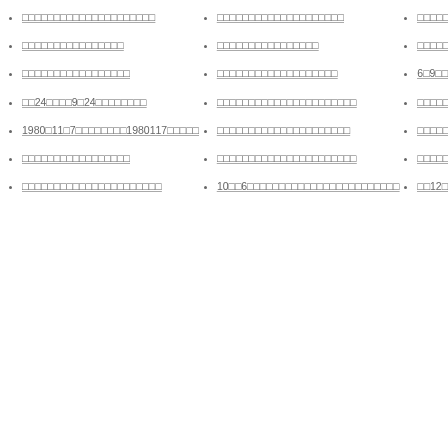□□□□□□□□□□□□□□□□□□□□□□□
□□□□□□□□□□□□□□□□□□
□□□□□□□□□□□□□□□□□□□
□□24□□□□9□24□□□□□□□□□
1980□11□7□□□□□□□□1980117□□□□□
□□□□□□□□□□□□□□□□□
□□□□□□□□□□□□□□□□□□□□□□□
□□□□□□□□□□□□□□□□□□□□
□□□□□□□□□□□□□□□□□□□□
□□□□□□□□□□□□□□□□□□□□□□
□□□□□□□□□□□□□□□□□□□□□□
6□9□□7□8□□□□□□6□8□□□□□□□
□□□□□□□□□□□□□□□□□□□□□□□□□□□□□□
□□□□□□□□□□□□□□□□□□□□□□□□□□□□□□□□
□□□□□□□□□□□□□□□□□□□□□□□□□□□□□□□□□□□□□□□□□□□□□□□
□□□□□□□□□□□□□□□□□□□□□□□□□□
□□□□□□□□□□□□□□□□□□□□□□□□□□□□□□□□□
□□12□□□□□□□□□□□□
□□□□□□□□□□19□□□□□□□□□□□□
□□□□□□□□□□□□□□□□□□□□□□□□□□□□□
□□□□□□□□□□□□□□□□□□□□□□□□□□□□□□□□□□□□□□□□□□□□□□□□
□□□□□□□□□□□□□□□□□□□□□□□□□□□□□□□□□□□□□□□□□□□□□□
□□□□□□□□□□□□□□□□□□□□□□□□□□□□□□□□□□□
□□□□□□□□□□□□□□□□□□□□□□□□□□□□□□□□□□□□□□□□□□□□□□□□□□
□□□□□□□□□□□□□□□□□□□□□□□□□□□□□□□□□□□□□□□□□□□□□□□
□□□□□□□□□□□□□□□□□□□□□□□□□□□□□□□□□□□□□□□□□□□□□□□□□□□□□□□
10□□6□□□□□□□□□□□□□□□□□□□□□□□□□□□□□□□□□□□□□□□□□□□□□□□□□□□□□□□□□□
□□12□□□□□□12□□□□□□□□□□□
□□□□□□□□□□□□□□□□□□□□□□□□□□□□□□□□□□□□□□□□□□□□□□□□□□□□□□□□□□□□□□□□□□□□□□□□□□□□□□□□□□□□□□□□□□□□□□□